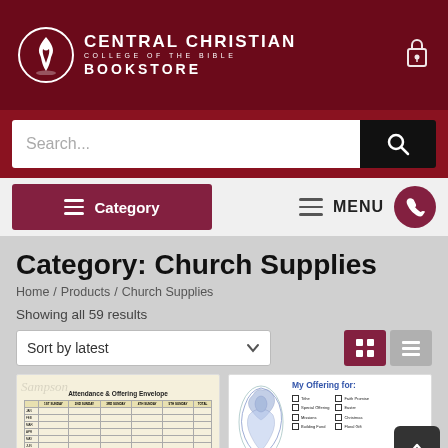[Figure (logo): Central Christian College of the Bible Bookstore logo on dark red header background]
[Figure (screenshot): Search bar with Search... placeholder and black search button]
[Figure (screenshot): Navigation bar with Category button and MENU button with phone icon]
Category: Church Supplies
Home / Products / Church Supplies
Showing all 59 results
[Figure (screenshot): Sort by latest dropdown and grid/list view toggle buttons]
[Figure (photo): Attendance & Offering Envelope product thumbnail with table grid on cream background]
[Figure (photo): My Offering for: product thumbnail with decorative blue illustration and checkboxes]